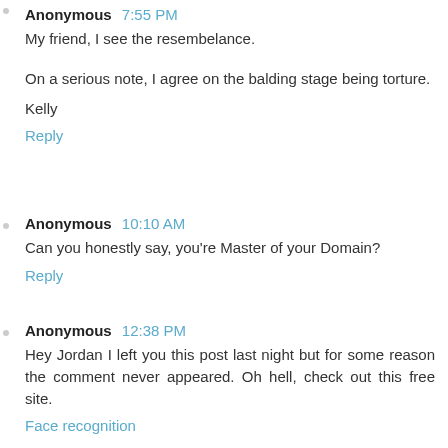Anonymous 7:55 PM
My friend, I see the resembelance.
On a serious note, I agree on the balding stage being torture.
Kelly
Reply
Anonymous 10:10 AM
Can you honestly say, you're Master of your Domain?
Reply
Anonymous 12:38 PM
Hey Jordan I left you this post last night but for some reason the comment never appeared. Oh hell, check out this free site.
Face recognition